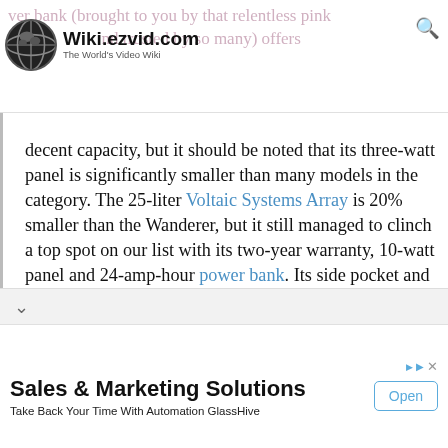Wiki.ezvid.com — The World's Video Wiki
ver bank (brought to you by that relentless pink ... and trusted by so many) offers decent capacity, but it should be noted that its three-watt panel is significantly smaller than many models in the category. The 25-liter Voltaic Systems Array is 20% smaller than the Wanderer, but it still managed to clinch a top spot on our list with its two-year warranty, 10-watt panel and 24-amp-hour power bank. Its side pocket and bottom straps provide two means to transport a tripod, and a useful insert can be purchased from the company to offer further organization and effectively transform this unit to a camera backpack.
[Figure (screenshot): Expand/collapse chevron button]
Sales & Marketing Solutions
Take Back Your Time With Automation GlassHive